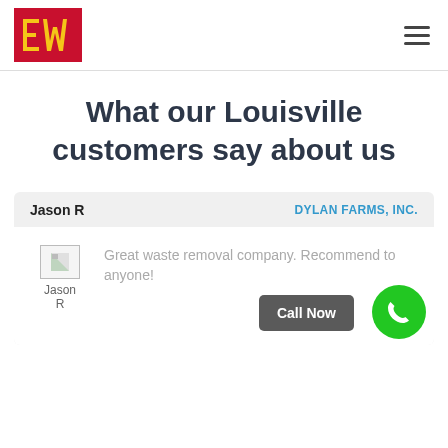EW logo and navigation
What our Louisville customers say about us
Jason R   DYLAN FARMS, INC.
Great waste removal company. Recommend to anyone!